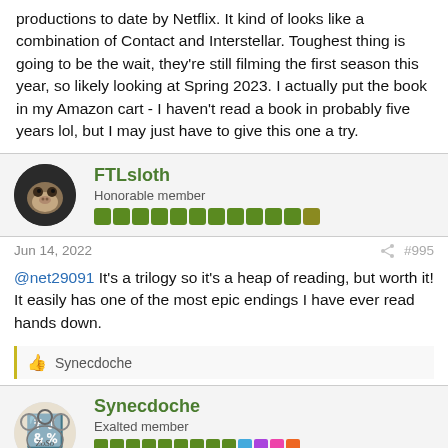productions to date by Netflix. It kind of looks like a combination of Contact and Interstellar. Toughest thing is going to be the wait, they're still filming the first season this year, so likely looking at Spring 2023. I actually put the book in my Amazon cart - I haven't read a book in probably five years lol, but I may just have to give this one a try.
FTLsloth
Honorable member
Jun 14, 2022
#995
@net29091 It's a trilogy so it's a heap of reading, but worth it! It easily has one of the most epic endings I have ever read hands down.
👍 Synecdoche
Synecdoche
Exalted member